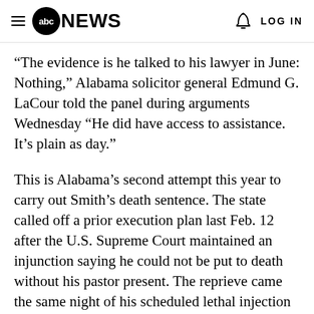abc NEWS  LOG IN
“The evidence is he talked to his lawyer in June: Nothing,” Alabama solicitor general Edmund G. LaCour told the panel during arguments Wednesday “He did have access to assistance. It’s plain as day.”
This is Alabama’s second attempt this year to carry out Smith’s death sentence. The state called off a prior execution plan last Feb. 12 after the U.S. Supreme Court maintained an injunction saying he could not be put to death without his pastor present. The reprieve came the same night of his scheduled lethal injection as he waited in a holding cell near the death chamber.